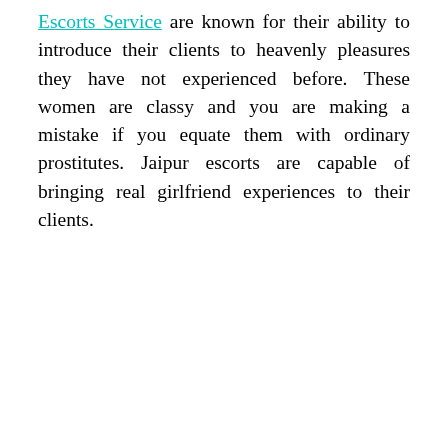Escorts Service are known for their ability to introduce their clients to heavenly pleasures they have not experienced before. These women are classy and you are making a mistake if you equate them with ordinary prostitutes. Jaipur escorts are capable of bringing real girlfriend experiences to their clients.